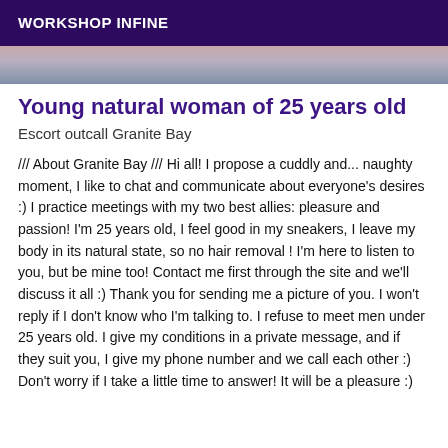WORKSHOP INFINE
[Figure (photo): Partial photo strip showing blurred image at top of listing]
Young natural woman of 25 years old
Escort outcall Granite Bay
/// About Granite Bay /// Hi all! I propose a cuddly and... naughty moment, I like to chat and communicate about everyone's desires :) I practice meetings with my two best allies: pleasure and passion! I'm 25 years old, I feel good in my sneakers, I leave my body in its natural state, so no hair removal ! I'm here to listen to you, but be mine too! Contact me first through the site and we'll discuss it all :) Thank you for sending me a picture of you. I won't reply if I don't know who I'm talking to. I refuse to meet men under 25 years old. I give my conditions in a private message, and if they suit you, I give my phone number and we call each other :) Don't worry if I take a little time to answer! It will be a pleasure :)